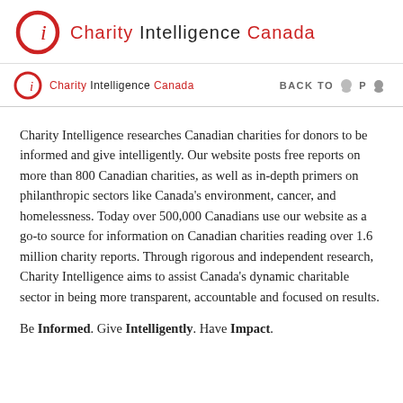Charity Intelligence Canada
Charity Intelligence Canada | BACK TO TOP
Charity Intelligence researches Canadian charities for donors to be informed and give intelligently. Our website posts free reports on more than 800 Canadian charities, as well as in-depth primers on philanthropic sectors like Canada’s environment, cancer, and homelessness. Today over 500,000 Canadians use our website as a go-to source for information on Canadian charities reading over 1.6 million charity reports. Through rigorous and independent research, Charity Intelligence aims to assist Canada’s dynamic charitable sector in being more transparent, accountable and focused on results.
Be Informed. Give Intelligently. Have Impact.